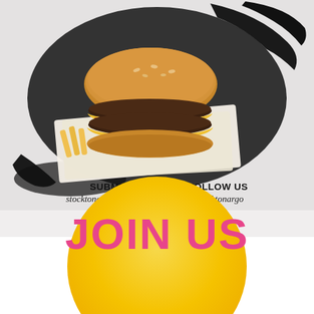[Figure (photo): A double cheeseburger with bacon served on parchment/deli paper, photographed on a gray background with black paint splatter artistic backdrop.]
SUBMISSIONS | FOLLOW US
stocktonargo@gmail.com | @stocktonargo
Stockton's official foodie community
[Figure (infographic): Yellow/gold circle at the bottom of the page with large pink bold text reading 'JOIN US'.]